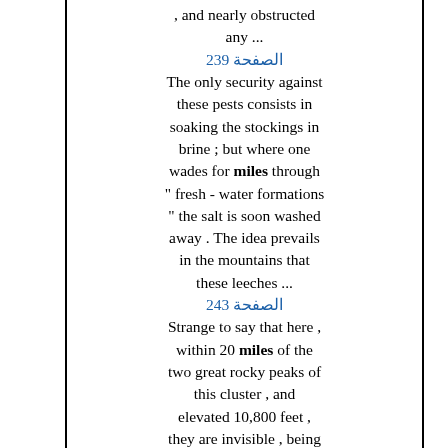, and nearly obstructed any ...
الصفحة 239
The only security against these pests consists in soaking the stockings in brine ; but where one wades for miles through " fresh - water formations " the salt is soon washed away . The idea prevails in the mountains that these leeches ...
الصفحة 243
Strange to say that here , within 20 miles of the two great rocky peaks of this cluster , and elevated 10,800 feet , they are invisible , being concealed by the two beautiful pinnacles of pure snow , which from